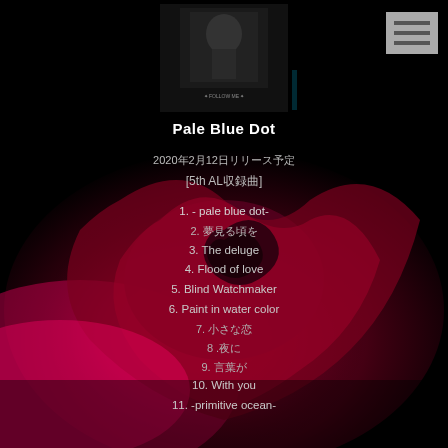[Figure (photo): Dark red rose close-up photo filling the background of the page, with deep crimson petals and dark shadows]
[Figure (photo): Album art image at the top center, dark with small text reading FOLLOW ME and decorative elements]
Pale Blue Dot
2020年2月12日リリース予定
[5th AL収録曲]
1. - pale blue dot-
2. 夢見る頃を
3. The deluge
4. Flood of love
5. Blind Watchmaker
6. Paint in water color
7. 小さな恋
8 .夜に
9. 言葉が
10. With you
11. -primitive ocean-